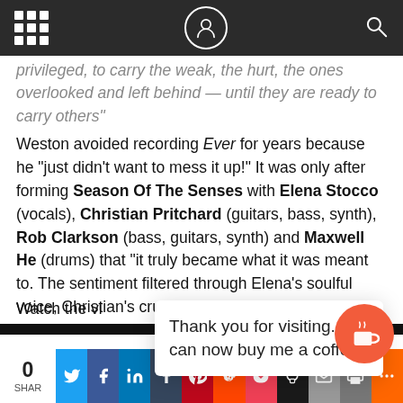[Navigation bar with grid menu, logo, and search icon]
privileged, to carry the weak, the hurt, the ones overlooked and left behind — until they are ready to carry others"
Weston avoided recording Ever for years because he "just didn't want to mess it up!" It was only after forming Season Of The Senses with Elena Stocco (vocals), Christian Pritchard (guitars, bass, synth), Rob Clarkson (bass, guitars, synth) and Maxwell He (drums) that "it truly became what it was meant to. The sentiment filtered through Elena's soulful voice, Christian's crushing guitars, Rob and Max propelling it forward — it just proved the point of the song: Alone we struggle, but there is power and strength in community and togetherness. That's what gives us hope, and that's what takes u
Thank you for visiting. You can now buy me a coffee!
Watch the vi... uen...
0 SHAR | Twitter | Facebook | LinkedIn | Tumblr | Pinterest | Reddit | Pocket | Skull | Mail | Print | More